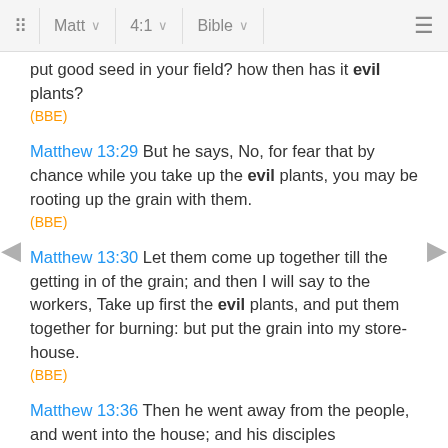Matt  4:1  Bible
put good seed in your field? how then has it evil plants?
(BBE)
Matthew 13:29 But he says, No, for fear that by chance while you take up the evil plants, you may be rooting up the grain with them.
(BBE)
Matthew 13:30 Let them come up together till the getting in of the grain; and then I will say to the workers, Take up first the evil plants, and put them together for burning: but put the grain into my store-house.
(BBE)
Matthew 13:36 Then he went away from the people, and went into the house; and his disciples